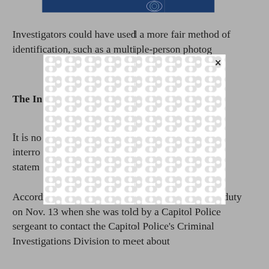[Figure (photo): Top banner with dark blue background, partially visible logo/seal on the right side]
Investigators could have used a more fair method of identification, such as a multiple-person photographic array or other alternatives.
The In[terrogation]
It is no[table that during the] interro[gation, Emory made] statem[ents...]
According to the court documents, Emory was on duty on Nov. 13 when she was told by a Capitol Police sergeant to contact the Capitol Police's Criminal Investigations Division to meet about